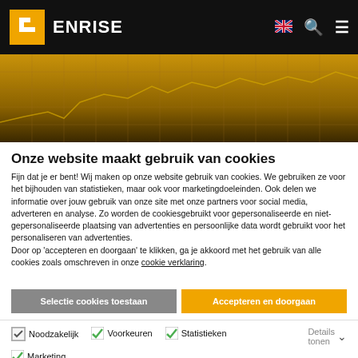[Figure (logo): Enrise logo: yellow square with white bracket icon and ENRISE text in white on black navigation bar]
[Figure (illustration): Golden/amber colored hero banner with grid lines and stock chart line overlay]
Onze website maakt gebruik van cookies
Fijn dat je er bent! Wij maken op onze website gebruik van cookies. We gebruiken ze voor het bijhouden van statistieken, maar ook voor marketingdoeleinden. Ook delen we informatie over jouw gebruik van onze site met onze partners voor social media, adverteren en analyse. Zo worden de cookiesgebruikt voor gepersonaliseerde en niet-gepersonaliseerde plaatsing van advertenties en persoonlijke data wordt gebruikt voor het personaliseren van advertenties.
Door op 'accepteren en doorgaan' te klikken, ga je akkoord met het gebruik van alle cookies zoals omschreven in onze cookie verklaring.
Selectie cookies toestaan
Accepteren en doorgaan
Noodzakelijk   Voorkeuren   Statistieken   Marketing   Details tonen